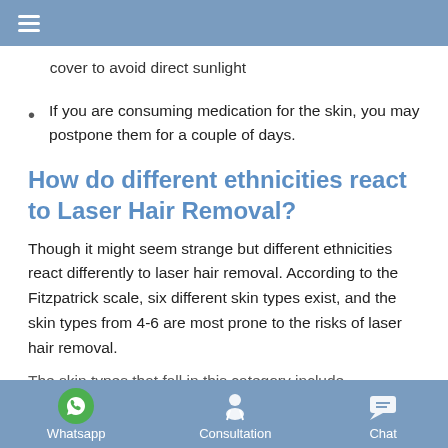≡ (hamburger menu)
cover to avoid direct sunlight
If you are consuming medication for the skin, you may postpone them for a couple of days.
How do different ethnicities react to Laser Hair Removal?
Though it might seem strange but different ethnicities react differently to laser hair removal. According to the Fitzpatrick scale, six different skin types exist, and the skin types from 4-6 are most prone to the risks of laser hair removal.
The skin types that fall in this category include
Whatsapp   Consultation   Chat